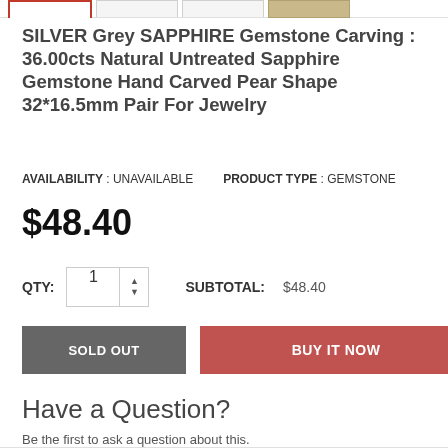SILVER Grey SAPPHIRE Gemstone Carving : 36.00cts Natural Untreated Sapphire Gemstone Hand Carved Pear Shape 32*16.5mm Pair For Jewelry
AVAILABILITY : UNAVAILABLE   PRODUCT TYPE : GEMSTONE
$48.40
QTY: 1   SUBTOTAL: $48.40
SOLD OUT   BUY IT NOW
Have a Question?
Be the first to ask a question about this.
Ask a Question